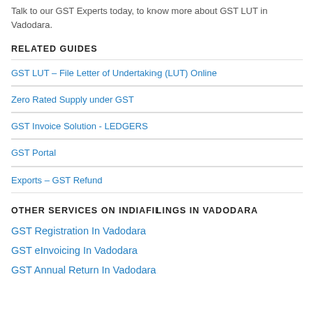Talk to our GST Experts today, to know more about GST LUT in Vadodara.
RELATED GUIDES
GST LUT – File Letter of Undertaking (LUT) Online
Zero Rated Supply under GST
GST Invoice Solution - LEDGERS
GST Portal
Exports – GST Refund
OTHER SERVICES ON INDIAFILINGS IN VADODARA
GST Registration In Vadodara
GST eInvoicing In Vadodara
GST Annual Return In Vadodara